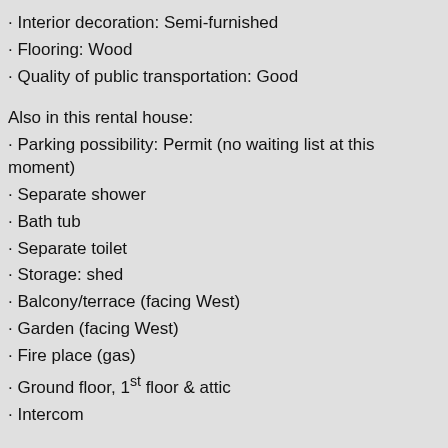· Interior decoration: Semi-furnished
· Flooring: Wood
· Quality of public transportation: Good
Also in this rental house:
· Parking possibility: Permit (no waiting list at this moment)
· Separate shower
· Bath tub
· Separate toilet
· Storage: shed
· Balcony/terrace (facing West)
· Garden (facing West)
· Fire place (gas)
· Ground floor, 1st floor & attic
· Intercom
Top of the range semi-furnished house of approximately 220 m2, divided over 3 floors, in an elegant location, located in the south